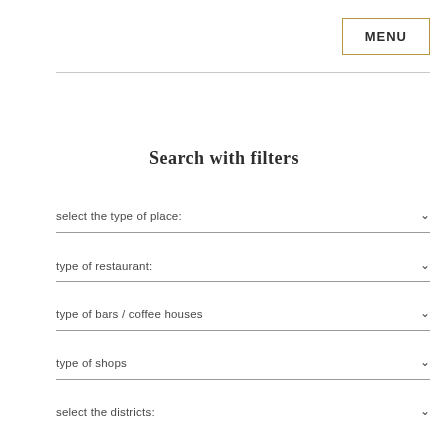MENU
Search with filters
select the type of place:
type of restaurant:
type of bars / coffee houses
type of shops
select the districts: